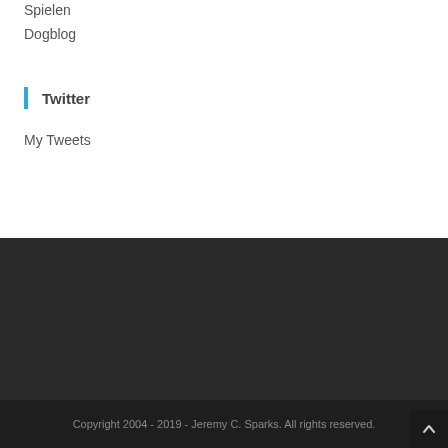Spielen
Dogblog
Twitter
My Tweets
Copyright 2004 - 2019 - Jeremy C. Sparks. All rights reserved.